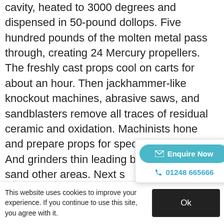cavity, heated to 3000 degrees and dispensed in 50-pound dollops. Five hundred pounds of the molten metal pass through, creating 24 Mercury propellers. The freshly cast props cool on carts for about an hour. Then jackhammer-like knockout machines, abrasive saws, and sandblasters remove all traces of residual ceramic and oxidation. Machinists hone and prepare props for specific applications. And grinders thin leading blade edges and sand other areas. Next s[tage of] refinement. Two hours in a dr[um] smoothes peaks and valleys, [giving the] finish of a Bravo Three® or p[... the] propellers move on to a burnishing stage, gaining
[Figure (other): Popup widget with 'Enquire Now' button (teal rounded button with envelope icon) and phone number '01248 665666' in blue with phone icon]
This website uses cookies to improve your experience. If you continue to use this site, you agree with it.